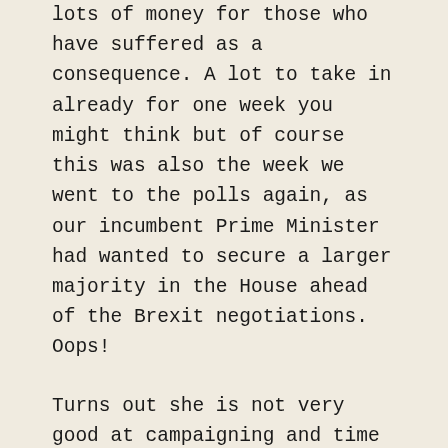lots of money for those who have suffered as a consequence. A lot to take in already for one week you might think but of course this was also the week we went to the polls again, as our incumbent Prime Minister had wanted to secure a larger majority in the House ahead of the Brexit negotiations. Oops!
Turns out she is not very good at campaigning and time and time again she was found wanting in terms of the details of her manifesto, her appearance at debates (she abstained) and her all round ability to engage as a human being instead of the Maybot she became. On the other hand her opponent Mr Corbyn has become the hero of the hour who can quite rightly claim to have, in a way, won the election. Who would have thought that turnaround could have been